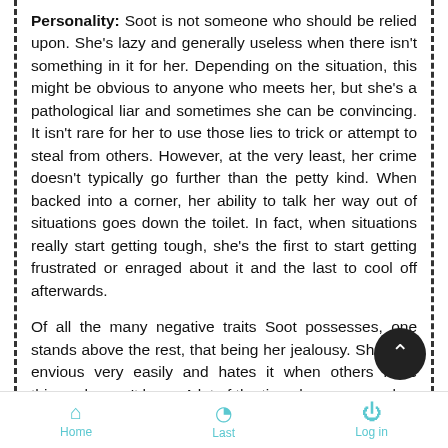Personality: Soot is not someone who should be relied upon. She's lazy and generally useless when there isn't something in it for her. Depending on the situation, this might be obvious to anyone who meets her, but she's a pathological liar and sometimes she can be convincing. It isn't rare for her to use those lies to trick or attempt to steal from others. However, at the very least, her crime doesn't typically go further than the petty kind. When backed into a corner, her ability to talk her way out of situations goes down the toilet. In fact, when situations really start getting tough, she's the first to start getting frustrated or enraged about it and the last to cool off afterwards.

Of all the many negative traits Soot possesses, one stands above the rest, that being her jealousy. She gets envious very easily and hates it when others have things she can't have. A lot of the time, her envy can be
Home   Last   Log in